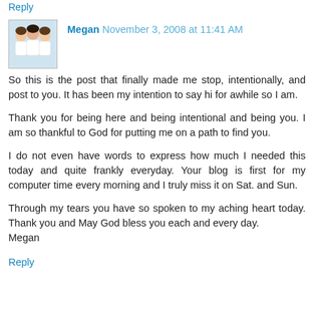Reply
Megan November 3, 2008 at 11:41 AM
So this is the post that finally made me stop, intentionally, and post to you. It has been my intention to say hi for awhile so I am.

Thank you for being here and being intentional and being you. I am so thankful to God for putting me on a path to find you.

I do not even have words to express how much I needed this today and quite frankly everyday. Your blog is first for my computer time every morning and I truly miss it on Sat. and Sun.

Through my tears you have so spoken to my aching heart today. Thank you and May God bless you each and every day.
Megan
Reply